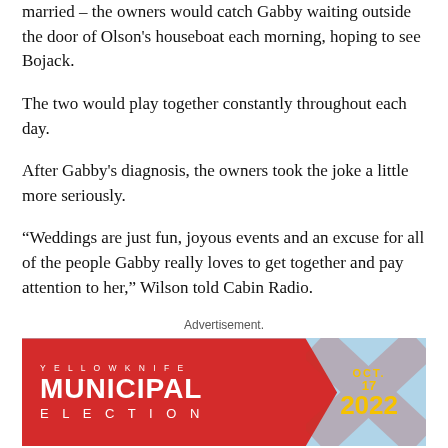married – the owners would catch Gabby waiting outside the door of Olson's houseboat each morning, hoping to see Bojack.
The two would play together constantly throughout each day.
After Gabby's diagnosis, the owners took the joke a little more seriously.
“Weddings are just fun, joyous events and an excuse for all of the people Gabby really loves to get together and pay attention to her,” Wilson told Cabin Radio.
Advertisement.
[Figure (infographic): Yellowknife Municipal Election advertisement banner with red arrow shape on light blue background, showing 'YELLOWKNIFE MUNICIPAL ELECTION OCT. 17 2022' with an X graphic.]